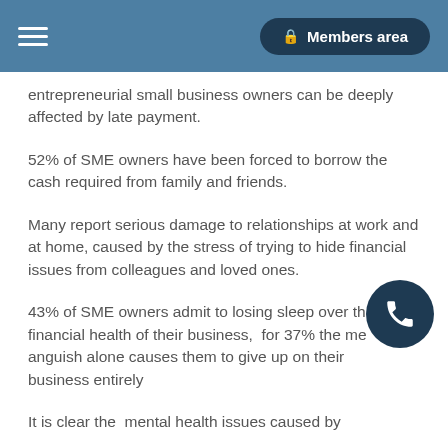Members area
entrepreneurial small business owners can be deeply affected by late payment.
52% of SME owners have been forced to borrow the cash required from family and friends.
Many report serious damage to relationships at work and at home, caused by the stress of trying to hide financial issues from colleagues and loved ones.
43% of SME owners admit to losing sleep over the financial health of their business, for 37% the mental anguish alone causes them to give up on their business entirely
It is clear the mental health issues caused by financial uncertainty are shared and deeply troubling